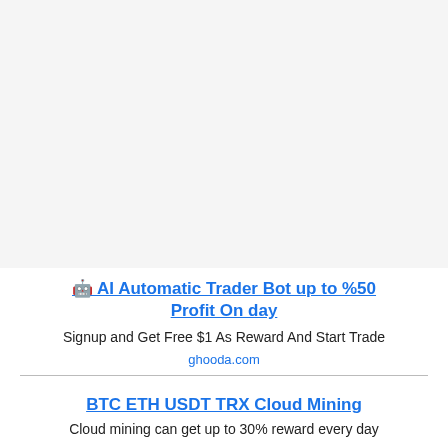[Figure (other): Large empty gray/white area at top of page, approximately 268px tall]
🤖 AI Automatic Trader Bot up to %50 Profit On day
Signup and Get Free $1 As Reward And Start Trade
ghooda.com
BTC ETH USDT TRX Cloud Mining
Cloud mining can get up to 30% reward every day